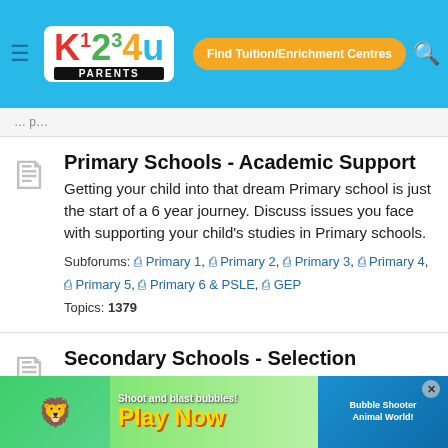K1234u Parents — Find Tuition/Enrichment Centres
Primary Schools - Academic Support
Getting your child into that dream Primary school is just the start of a 6 year journey. Discuss issues you face with supporting your child's studies in Primary schools.
Subforums: Primary 1, Primary 2, Primary 3, Primary 4, Primary 5, Primary 6 & PSLE, GEP
Topics: 1379
Secondary Schools - Selection
Unlike entry to Primary Schools, admission into Secondary Schools is based on meritocracy. PSLE results are used as key admission criteria. Discuss
[Figure (screenshot): Game advertisement banner: 'Shoot and blast bubbles! Play Now' with colorful bubble shooter game graphics]